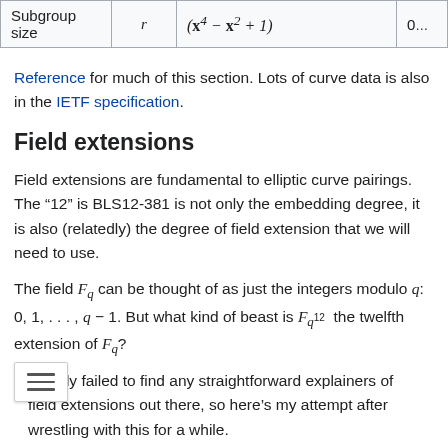| Subgroup size | r | (x⁴ − x² + 1) | 0... |
| --- | --- | --- | --- |
| Subgroup size | r | (x⁴ − x² + 1) | 0... |
Reference for much of this section. Lots of curve data is also in the IETF specification.
Field extensions
Field extensions are fundamental to elliptic curve pairings. The “12” is BLS12-381 is not only the embedding degree, it is also (relatedly) the degree of field extension that we will need to use.
The field F_q can be thought of as just the integers modulo q: 0, 1, ..., q − 1. But what kind of beast is F_q^12 the twelfth extension of F_q?
I totally failed to find any straightforward explainers of field extensions out there, so here’s my attempt after wrestling with this for a while.